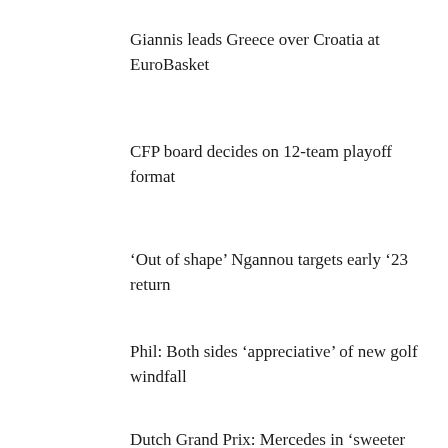Giannis leads Greece over Croatia at EuroBasket
CFP board decides on 12-team playoff format
‘Out of shape’ Ngannou targets early ’23 return
Phil: Both sides ‘appreciative’ of new golf windfall
Dutch Grand Prix: Mercedes in ‘sweeter